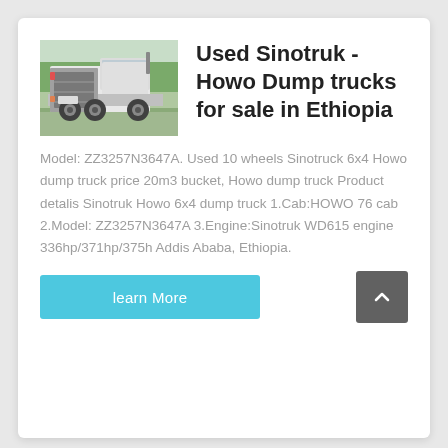[Figure (photo): Photo of a white Sinotruk Howo dump truck seen from the rear, parked outdoors with trees in the background.]
Used Sinotruk - Howo Dump trucks for sale in Ethiopia
Model: ZZ3257N3647A. Used 10 wheels Sinotruck 6x4 Howo dump truck price 20m3 bucket, Howo dump truck Product detalis Sinotruk Howo 6x4 dump truck 1.Cab:HOWO 76 cab 2.Model: ZZ3257N3647A 3.Engine:Sinotruk WD615 engine 336hp/371hp/375h Addis Ababa, Ethiopia.
learn More